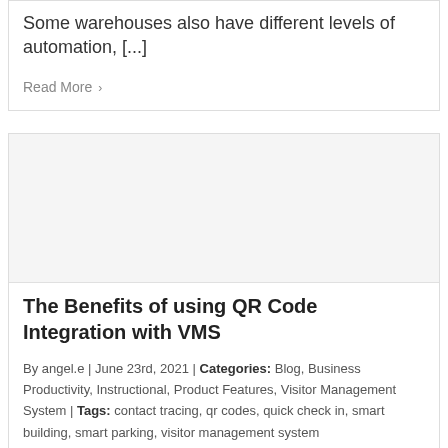Some warehouses also have different levels of automation, [...]
Read More >
[Figure (other): Article thumbnail image placeholder (light gray box)]
The Benefits of using QR Code Integration with VMS
By angel.e | June 23rd, 2021 | Categories: Blog, Business Productivity, Instructional, Product Features, Visitor Management System | Tags: contact tracing, qr codes, quick check in, smart building, smart parking, visitor management system